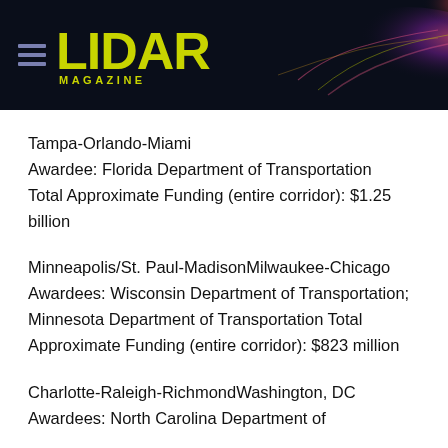LIDAR MAGAZINE
Tampa-Orlando-Miami
Awardee: Florida Department of Transportation
Total Approximate Funding (entire corridor): $1.25 billion
Minneapolis/St. Paul-MadisonMilwaukee-Chicago
Awardees: Wisconsin Department of Transportation; Minnesota Department of Transportation Total Approximate Funding (entire corridor): $823 million
Charlotte-Raleigh-RichmondWashington, DC
Awardees: North Carolina Department of